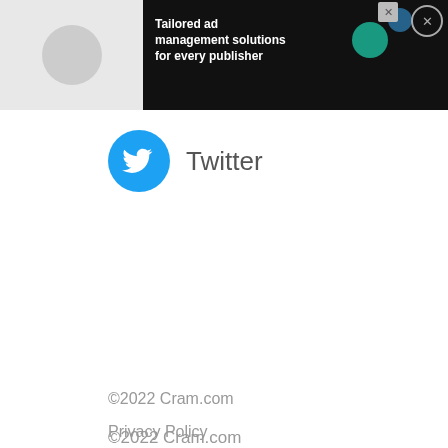[Figure (screenshot): Dark advertisement banner for Freesta ad management platform with text 'Tailored ad management solutions for every publisher' and a 'LEARN MORE' button, with a close X button]
[Figure (logo): Twitter logo - blue circle with white bird icon, next to the text 'Twitter']
©2022 Cram.com
Privacy Policy
CA Privacy Policy
Site Map
Advertise
CA Do Not Sell My Personal Information